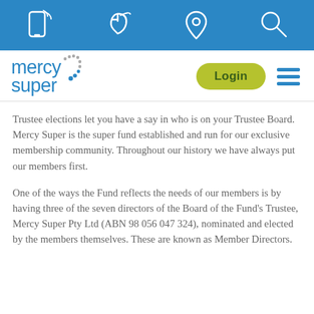[Figure (other): Blue navigation bar with four white outline icons: mobile phone, computer mouse, location pin, magnifying glass]
[Figure (logo): Mercy Super logo with blue text 'mercy' and 'super' with dotted arc, green Login button, and blue hamburger menu icon]
Trustee elections let you have a say in who is on your Trustee Board. Mercy Super is the super fund established and run for our exclusive membership community. Throughout our history we have always put our members first.
One of the ways the Fund reflects the needs of our members is by having three of the seven directors of the Board of the Fund's Trustee, Mercy Super Pty Ltd (ABN 98 056 047 324), nominated and elected by the members themselves. These are known as Member Directors.